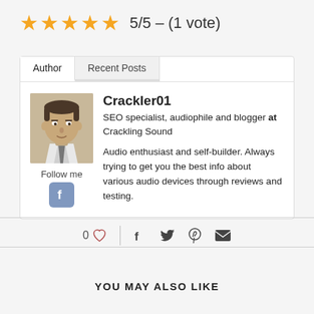5/5 – (1 vote)
Author | Recent Posts
Crackler01
SEO specialist, audiophile and blogger at Crackling Sound
Audio enthusiast and self-builder. Always trying to get you the best info about various audio devices through reviews and testing.
Follow me
0
YOU MAY ALSO LIKE